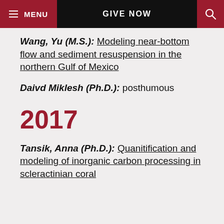MENU  GIVE NOW  [search]
Wang, Yu (M.S.): Modeling near-bottom flow and sediment resuspension in the northern Gulf of Mexico
Daivd Miklesh (Ph.D.): posthumous
2017
Tansik, Anna (Ph.D.): Quanitification and modeling of inorganic carbon processing in scleractinian coral